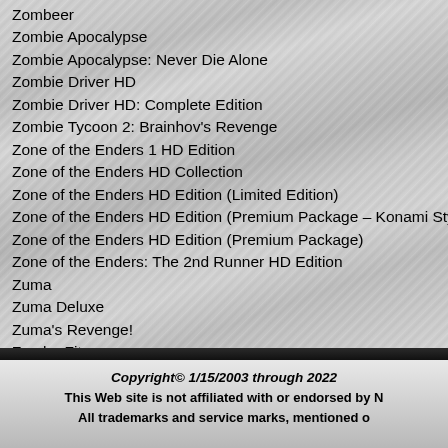Zombeer
Zombie Apocalypse
Zombie Apocalypse: Never Die Alone
Zombie Driver HD
Zombie Driver HD: Complete Edition
Zombie Tycoon 2: Brainhov's Revenge
Zone of the Enders 1 HD Edition
Zone of the Enders HD Collection
Zone of the Enders HD Edition (Limited Edition)
Zone of the Enders HD Edition (Premium Package – Konami Style Sp
Zone of the Enders HD Edition (Premium Package)
Zone of the Enders: The 2nd Runner HD Edition
Zuma
Zuma Deluxe
Zuma's Revenge!
Zumba Fitness
Zumba Fitness Core
Copyright© 1/15/2003 through 2022
This Web site is not affiliated with or endorsed by N
All trademarks and service marks, mentioned o